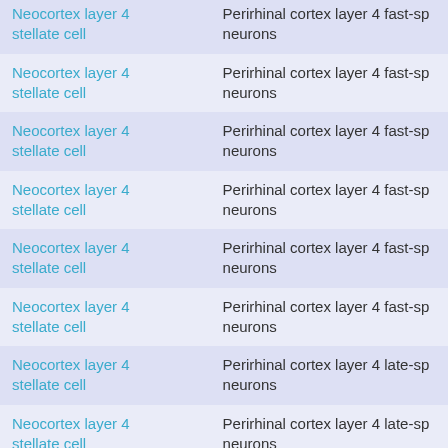| Neocortex layer 4 stellate cell | Perirhinal cortex layer 4 fast-spiking neurons |
| Neocortex layer 4 stellate cell | Perirhinal cortex layer 4 fast-spiking neurons |
| Neocortex layer 4 stellate cell | Perirhinal cortex layer 4 fast-spiking neurons |
| Neocortex layer 4 stellate cell | Perirhinal cortex layer 4 fast-spiking neurons |
| Neocortex layer 4 stellate cell | Perirhinal cortex layer 4 fast-spiking neurons |
| Neocortex layer 4 stellate cell | Perirhinal cortex layer 4 fast-spiking neurons |
| Neocortex layer 4 stellate cell | Perirhinal cortex layer 4 late-spiking neurons |
| Neocortex layer 4 stellate cell | Perirhinal cortex layer 4 late-spiking neurons |
| Neocortex layer 4 stellate cell | Perirhinal cortex layer 4 late-spiking neurons |
| Neocortex layer 4 stellate cell | Perirhinal cortex layer 4 late-spiking neurons |